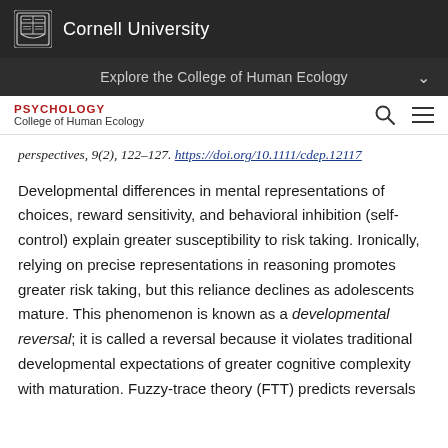Cornell University
Explore the College of Human Ecology
PSYCHOLOGY
College of Human Ecology
perspectives, 9(2), 122–127. https://doi.org/10.1111/cdep.12117
Developmental differences in mental representations of choices, reward sensitivity, and behavioral inhibition (self-control) explain greater susceptibility to risk taking. Ironically, relying on precise representations in reasoning promotes greater risk taking, but this reliance declines as adolescents mature. This phenomenon is known as a developmental reversal; it is called a reversal because it violates traditional developmental expectations of greater cognitive complexity with maturation. Fuzzy-trace theory (FTT) predicts reversals